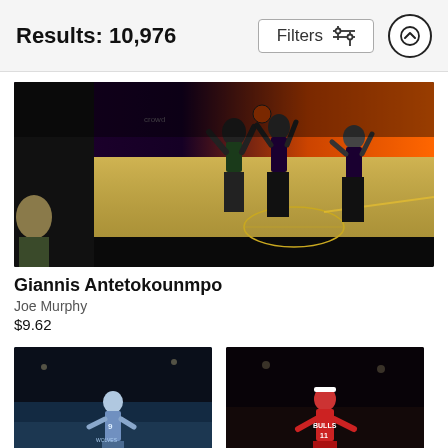Results: 10,976
Filters
[Figure (photo): NBA basketball action photo showing Giannis Antetokounmpo going up for a shot against Phoenix Suns players on a black and gold court]
Giannis Antetokounmpo
Joe Murphy
$9.62
[Figure (photo): NBA basketball photo of Ricky Rubio in Minnesota Timberwolves uniform (#9) on the court]
[Figure (photo): NBA basketball photo of player #11 in Chicago Bulls uniform on the court]